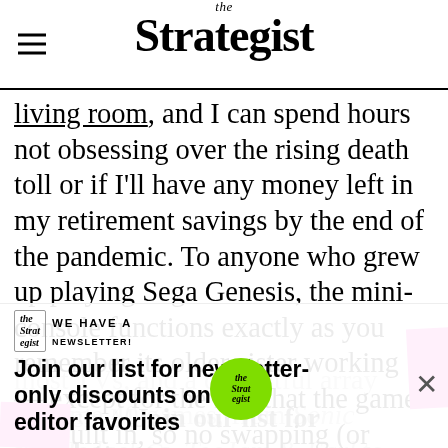the Strategist
living room, and I can spend hours not obsessing over the rising death toll or if I'll have any money left in my retirement savings by the end of the pandemic. To anyone who grew up playing Sega Genesis, the mini-console functions exactly as you remember its older sister working — except for the fact that the games are built in, so no swapping (or blowing on) cartridges is necessary. It comes with two controllers, the cords needed to hook it up to
most TVs, and a delightful array of some 40 games, from Sonic the Hedgehog, ToeJam & Earl to Altered Beast. When first writing about the Sega Genesis Mini for Polygon, all I had but good things to say about it then bad things. Might now it's on sale for $50
Join our list for newsletter-only discounts on editor favorites